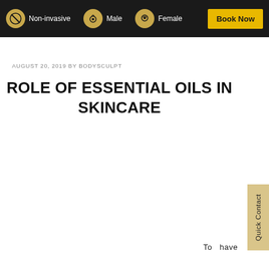Non-invasive  Male  Female  Book Now
AUGUST 20, 2019 BY BODYSCULPT
ROLE OF ESSENTIAL OILS IN SKINCARE
Quick Contact
To  have